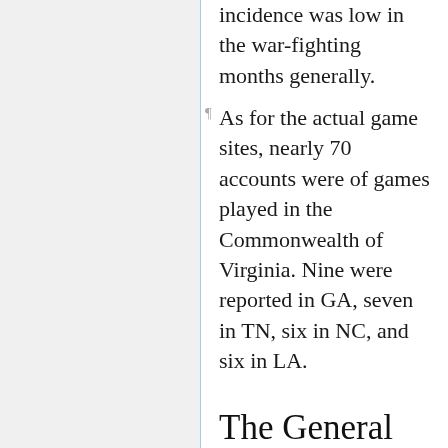incidence was low in the war-fighting months generally.
As for the actual game sites, nearly 70 accounts were of games played in the Commonwealth of Virginia. Nine were reported in GA, seven in TN, six in NC, and six in LA.
The General Importance of War-Camp Base Ball is Somewhat Strengthened
Spalding and others